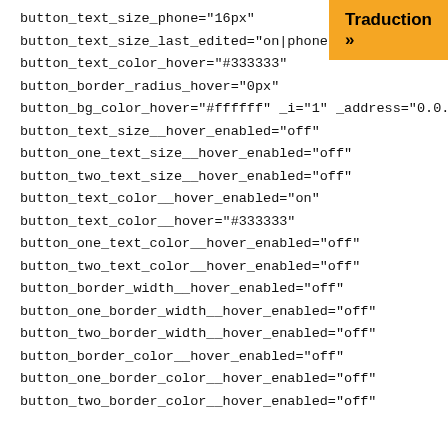[Figure (screenshot): Orange 'Traduction »' button in top-right corner]
button_text_size_phone="16px"
button_text_size_last_edited="on|phone"
button_text_color_hover="#333333"
button_border_radius_hover="0px"
button_bg_color_hover="#ffffff" _i="1" _address="0.0.1"
button_text_size__hover_enabled="off"
button_one_text_size__hover_enabled="off"
button_two_text_size__hover_enabled="off"
button_text_color__hover_enabled="on"
button_text_color__hover="#333333"
button_one_text_color__hover_enabled="off"
button_two_text_color__hover_enabled="off"
button_border_width__hover_enabled="off"
button_one_border_width__hover_enabled="off"
button_two_border_width__hover_enabled="off"
button_border_color__hover_enabled="off"
button_one_border_color__hover_enabled="off"
button_two_border_color__hover_enabled="off"